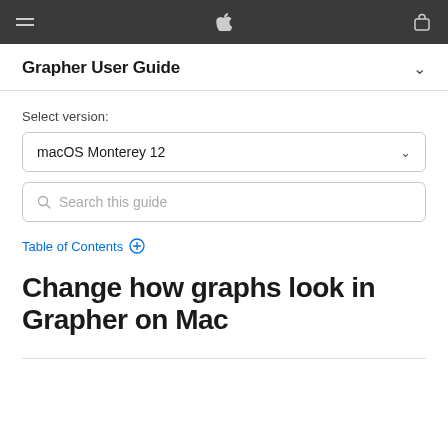Grapher User Guide
Select version:
macOS Monterey 12
Search this guide
Table of Contents
Change how graphs look in Grapher on Mac